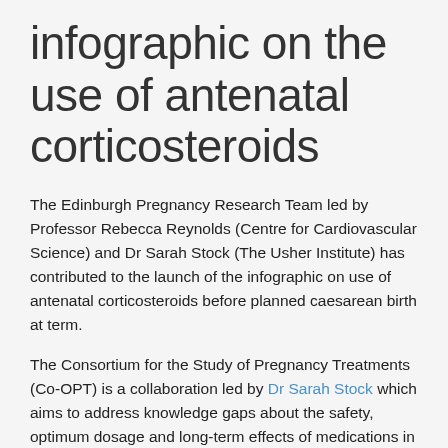infographic on the use of antenatal corticosteroids
The Edinburgh Pregnancy Research Team led by Professor Rebecca Reynolds (Centre for Cardiovascular Science) and Dr Sarah Stock (The Usher Institute) has contributed to the launch of the infographic on use of antenatal corticosteroids before planned caesarean birth at term.
The Consortium for the Study of Pregnancy Treatments (Co-OPT) is a collaboration led by Dr Sarah Stock which aims to address knowledge gaps about the safety, optimum dosage and long-term effects of medications in pregnancy, and the initial focus of Co-OPT